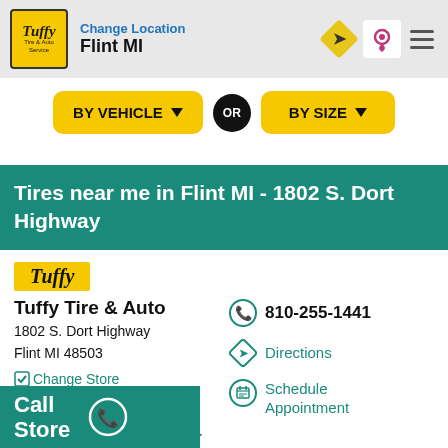Change Location Flint MI
BY VEHICLE ▼ OR BY SIZE ▼
Tires near me in Flint MI - 1802 S. Dort Highway
[Figure (logo): Tuffy brand logo label in yellow background]
Tuffy Tire & Auto
1802 S. Dort Highway
Flint MI 48503
✓Change Store
810-255-1441
Directions
Schedule Appointment
Open Until 6:00PM - Hours ▼
Call Store